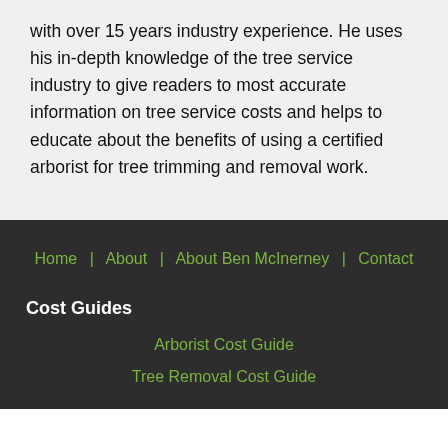with over 15 years industry experience. He uses his in-depth knowledge of the tree service industry to give readers to most accurate information on tree service costs and helps to educate about the benefits of using a certified arborist for tree trimming and removal work.
Home | About | About Ben McInerney | Contact
Cost Guides
Arborist Cost Guide
Tree Removal Cost Guide